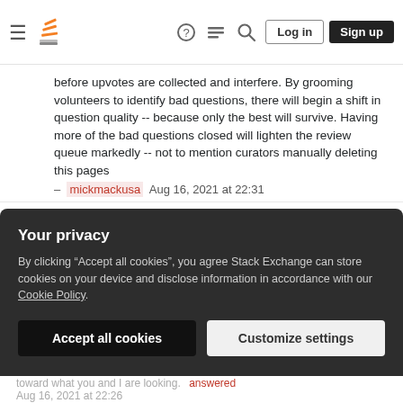Stack Exchange navigation header with hamburger menu, logo, icons (help, chat, search), Log in and Sign up buttons
before upvotes are collected and interfere. By grooming volunteers to identify bad questions, there will begin a shift in question quality -- because only the best will survive. Having more of the bad questions closed will lighten the review queue markedly -- not to mention curators manually deleting this pages – mickmackusa Aug 16, 2021 at 22:31
@mickmackusa: If you're only predicated on the fact that users answer low quality questions, you are by definition only looking at half of the problem. The number of people who are volunteering and willing to do this at all more than likely have a good sense of bad questions and know not to answer them. An effort like
Your privacy
By clicking "Accept all cookies", you agree Stack Exchange can store cookies on your device and disclose information in accordance with our Cookie Policy.
Accept all cookies    Customize settings
toward what you and I are looking. Aug 16, 2021 at 22:26